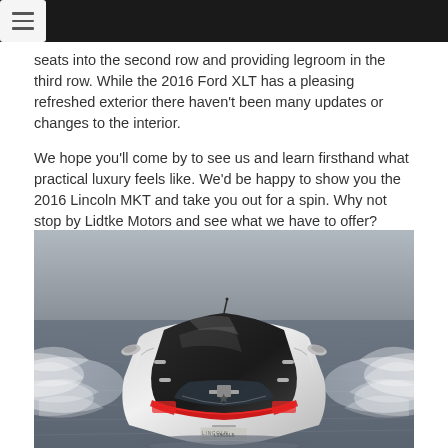Navigation menu header bar
seats into the second row and providing legroom in the third row. While the 2016 Ford XLT has a pleasing refreshed exterior there haven't been many updates or changes to the interior.
We hope you'll come by to see us and learn firsthand what practical luxury feels like. We'd be happy to show you the 2016 Lincoln MKT and take you out for a spin. Why not stop by Lidtke Motors and see what we have to offer?
[Figure (photo): Aerial/top-down rear view of a silver 2016 Lincoln MKT luxury SUV driving through water, creating splashes on both sides. The vehicle is photographed from above and slightly behind, showing the panoramic roof, rear window, taillights with red trim, and MKT badge.]